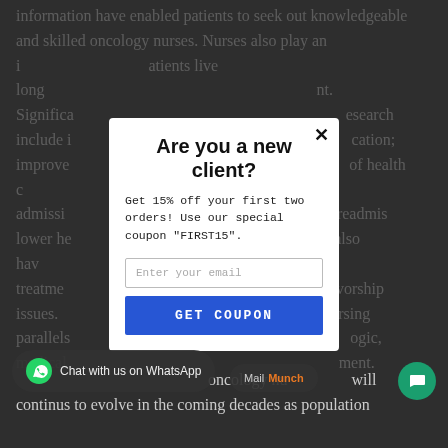information have enabled patients to seek out knowledgeable and skilled oncology nurses. Nurses also play an important role in rehabilitation — patients live long... Significant research include improve of health care, hospital admissions, readmissions and lower health care nurses also have treatment worship issues. Nursing parallels logic, medical ment. oncology nurses will continus to evolve in the coming decades as population
[Figure (screenshot): Modal popup overlay on a webpage with dark dimmed background. Title reads 'Are you a new client?' with promotional text 'Get 15% off your first two orders! Use our special coupon "FIRST15".' An email input field and a blue 'GET COUPON' button are present. A WhatsApp chat widget bar is at the bottom left, and a MailMunch branding element at the bottom right with a green chat circle icon.]